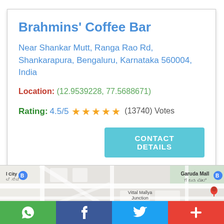Brahmins' Coffee Bar
Near Shankar Mutt, Ranga Rao Rd, Shankarapura, Bengaluru, Karnataka 560004, India
Location: (12.9539228, 77.5688671)
Rating: 4.5/5 ★★★★★ (13740) Votes
[Figure (map): Google Maps view showing Vittal Mallya Junction area in Bengaluru with Garuda Mall labeled]
WhatsApp | Facebook | Twitter | More